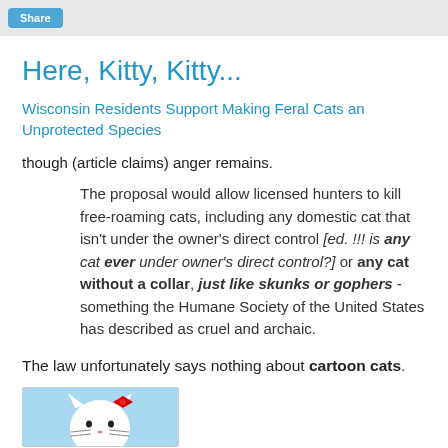Share
Here, Kitty, Kitty...
Wisconsin Residents Support Making Feral Cats an Unprotected Species
though (article claims) anger remains.
The proposal would allow licensed hunters to kill free-roaming cats, including any domestic cat that isn't under the owner's direct control [ed. !!! is any cat ever under owner's direct control?] or any cat without a collar, just like skunks or gophers - something the Humane Society of the United States has described as cruel and archaic.
The law unfortunately says nothing about cartoon cats.
[Figure (illustration): Hello Kitty cartoon image, partial view showing the cat character with a red bow on a blue background]